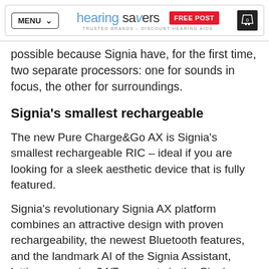MENU | hearing savers TRUSTED BRANDS – DISCOUNT HEARING AIDS | FREE POST | 0
possible because Signia have, for the first time, two separate processors: one for sounds in focus, the other for surroundings.
Signia's smallest rechargeable
The new Pure Charge&Go AX is Signia's smallest rechargeable RIC – ideal if you are looking for a sleek aesthetic device that is fully featured.
Signia's revolutionary Signia AX platform combines an attractive design with proven rechargeability, the newest Bluetooth features, and the landmark AI of the Signia Assistant, letting you enjoy 24/7 support via the Signia app on your smartphone.